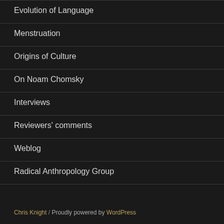Evolution of Language
Menstruation
Origins of Culture
On Noam Chomsky
Interviews
Reviewers' comments
Weblog
Radical Anthropology Group
Chris Knight / Proudly powered by WordPress